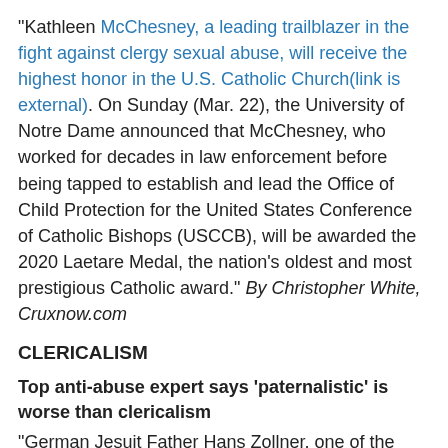“Kathleen McChesney, a leading trailblazer in the fight against clergy sexual abuse, will receive the highest honor in the U.S. Catholic Church(link is external). On Sunday (Mar. 22), the University of Notre Dame announced that McChesney, who worked for decades in law enforcement before being tapped to establish and lead the Office of Child Protection for the United States Conference of Catholic Bishops (USCCB), will be awarded the 2020 Laetare Medal, the nation’s oldest and most prestigious Catholic award.” By Christopher White, Cruxnow.com
CLERICALISM
Top anti-abuse expert says ‘paternalistic’ is worse than clericalism
“German Jesuit Father Hans Zollner, one of the Catholic Church’s leading experts in child protection, has said